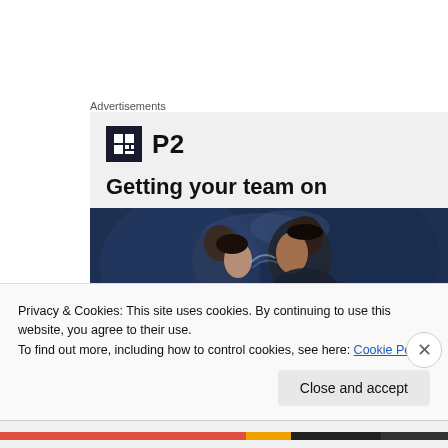Advertisements
[Figure (logo): P2 brand logo with dark square icon containing a grid symbol and bold 'P2' text]
Getting your team on
[Figure (photo): Dark atmospheric photo of two people (a woman and a man) in close proximity, appearing to share a cigarette, with blue smoky background]
Privacy & Cookies: This site uses cookies. By continuing to use this website, you agree to their use.
To find out more, including how to control cookies, see here: Cookie Policy
Close and accept